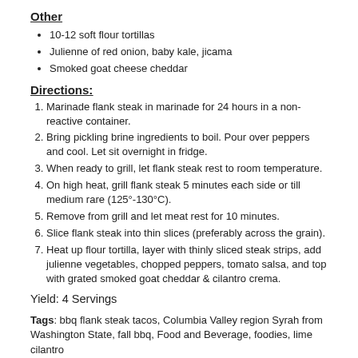Other
10-12 soft flour tortillas
Julienne of red onion, baby kale, jicama
Smoked goat cheese cheddar
Directions:
Marinade flank steak in marinade for 24 hours in a non-reactive container.
Bring pickling brine ingredients to boil. Pour over peppers and cool. Let sit overnight in fridge.
When ready to grill, let flank steak rest to room temperature.
On high heat, grill flank steak 5 minutes each side or till medium rare (125°-130°C).
Remove from grill and let meat rest for 10 minutes.
Slice flank steak into thin slices (preferably across the grain).
Heat up flour tortilla, layer with thinly sliced steak strips, add julienne vegetables, chopped peppers, tomato salsa, and top with grated smoked goat cheddar & cilantro crema.
Yield: 4 Servings
Tags: bbq flank steak tacos, Columbia Valley region Syrah from Washington State, fall bbq, Food and Beverage, foodies, lime cilantro